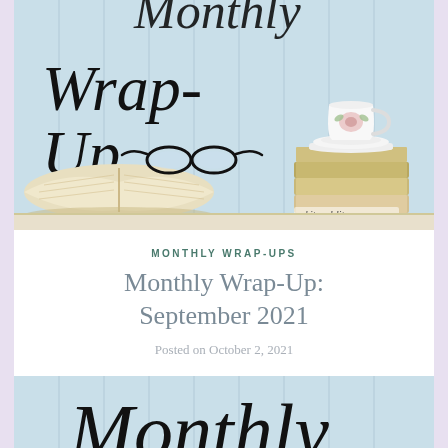[Figure (photo): Blog header image showing an open book with reading glasses on top, a stack of books with a teacup on top, against a light blue wooden plank background, with handwritten-style text reading 'Wrap-Up' and 'Monthly' and the watermark 'whitreadslit.com']
MONTHLY WRAP-UPS
Monthly Wrap-Up: September 2021
Posted on October 2, 2021
[Figure (photo): Bottom portion of a blog header image showing the beginning of handwritten-style script text reading 'Monthly' against a light blue wooden plank background]